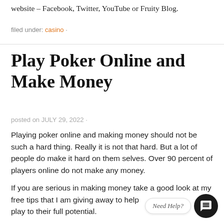website – Facebook, Twitter, YouTube or Fruity Blog.
filed under: casino ·
Play Poker Online and Make Money
posted on JULY 29, 2022 ·
Playing poker online and making money should not be such a hard thing. Really it is not that hard. But a lot of people do make it hard on them selves. Over 90 percent of players online do not make any money.
If you are serious in making money take a good look at my free tips that I am giving away to help people play to their full potential.